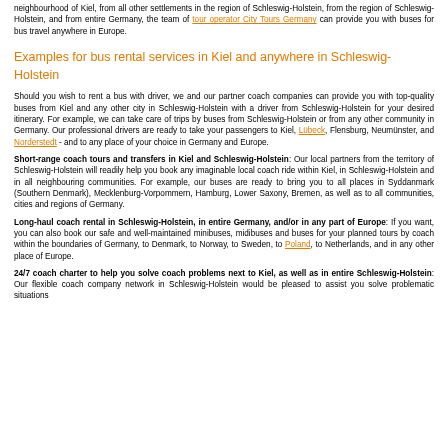neighbourhood of Kiel, from all other settlements in the region of Schleswig-Holstein, from the region of Schleswig-Holstein, and from entire Germany, the team of tour operator City Tours Germany can provide you with buses for bus travel anywhere in Europe.
Examples for bus rental services in Kiel and anywhere in Schleswig-Holstein
Should you wish to rent a bus with driver, we and our partner coach companies can provide you with top-quality buses from Kiel and any other city in Schleswig-Holstein with a driver from Schleswig-Holstein for your desired itinerary. For example, we can take care of trips by buses from Schleswig-Holstein or from any other community in Germany. Our professional drivers are ready to take your passengers to Kiel, Lübeck, Flensburg, Neumünster, and Norderstedt - and to any place of your choice in Germany and Europe.
Short-range coach tours and transfers in Kiel and Schleswig-Holstein: Our local partners from the territory of Schleswig-Holstein will readily help you book any imaginable local coach ride within Kiel, in Schleswig-Holstein and in all neighbouring communities. For example, our buses are ready to bring you to all places in Syddanmark (Southern Denmark), Mecklenburg-Vorpommern, Hamburg, Lower Saxony, Bremen, as well as to all communities, cities and regions of Germany.
Long-haul coach rental in Schleswig-Holstein, in entire Germany, and/or in any part of Europe: If you want, you can also book our safe and well-maintained minibuses, midibuses and buses for your planned tours by coach within the boundaries of Germany, to Denmark, to Norway, to Sweden, to Poland, to Netherlands, and in any other place of Europe.
24/7 coach charter to help you solve coach problems next to Kiel, as well as in entire Schleswig-Holstein: Our flexible coach company network in Schleswig-Holstein would be pleased to assist you solve problematic situations